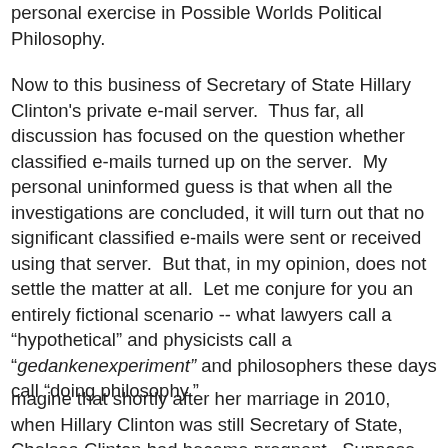personal exercise in Possible Worlds Political Philosophy.
Now to this business of Secretary of State Hillary Clinton's private e-mail server.  Thus far, all discussion has focused on the question whether classified e-mails turned up on the server.  My personal uninformed guess is that when all the investigations are concluded, it will turn out that no significant classified e-mails were sent or received using that server.  But that, in my opinion, does not settle the matter at all.  Let me conjure for you an entirely fictional scenario -- what lawyers call a "hypothetical" and physicists call a "gedankenexperiment" and philosophers these days call "doing philosophy."
magine that shortly after her marriage in 2010, when Hillary Clinton was still Secretary of State, Chelsea Clinton had became pregnant.  Suppose that the